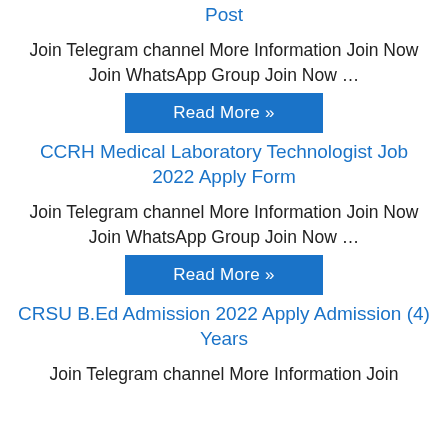Post
Join Telegram channel More Information Join Now Join WhatsApp Group Join Now …
Read More »
CCRH Medical Laboratory Technologist Job 2022 Apply Form
Join Telegram channel More Information Join Now Join WhatsApp Group Join Now …
Read More »
CRSU B.Ed Admission 2022 Apply Admission (4) Years
Join Telegram channel More Information Join